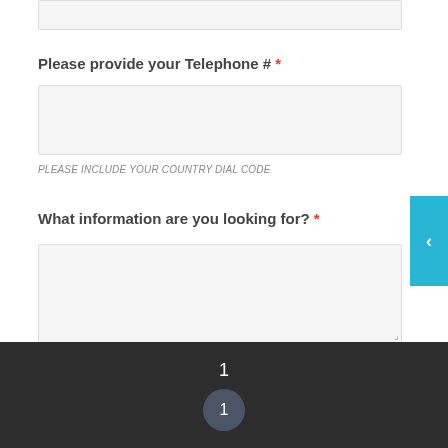Please provide your Telephone # *
PLEASE INCLUDE YOUR COUNTRY DIAL CODE
What information are you looking for? *
1  1